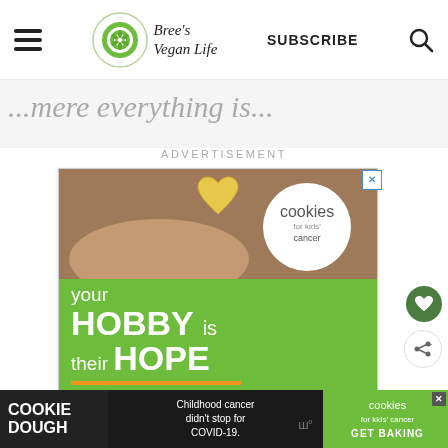Bree's Vegan Life — SUBSCRIBE
...mere everything is...
ADVERTISEMENT
[Figure (photo): Advertisement for Cookies for Kids' Cancer showing hands holding a heart-shaped cookie, with text: 'your HOBBY is their HOPE — LEARN WHY']
COOKIE DOUGH — Childhood cancer didn't stop for COVID-19. — cookies for kids' cancer — GET BAKING